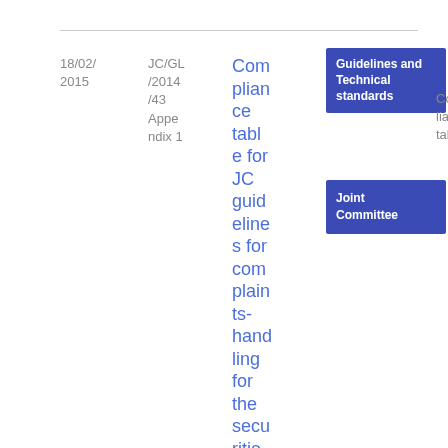18/02/2015
JC/GL/2014/43 Appendix 1
Compliance table for JC guidelines for complaints-handling for the securities (ESMA)
Guidelines and Technical standards
Joint Committee
Compliance table
PDF
18 7.15 KB